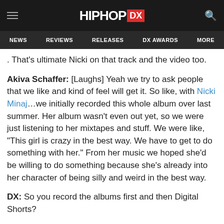HIPHOP DX — NEWS | REVIEWS | RELEASES | DX AWARDS | MORE
. That's ultimate Nicki on that track and the video too.
Akiva Schaffer: [Laughs] Yeah we try to ask people that we like and kind of feel will get it. So like, with Nicki Minaj...we initially recorded this whole album over last summer. Her album wasn't even out yet, so we were just listening to her mixtapes and stuff. We were like, "This girl is crazy in the best way. We have to get to do something with her." From her music we hoped she'd be willing to do something because she's already into her character of being silly and weird in the best way.
DX: So you record the albums first and then Digital Shorts?
Akiva Schaffer: That is how it works, yes, we do...